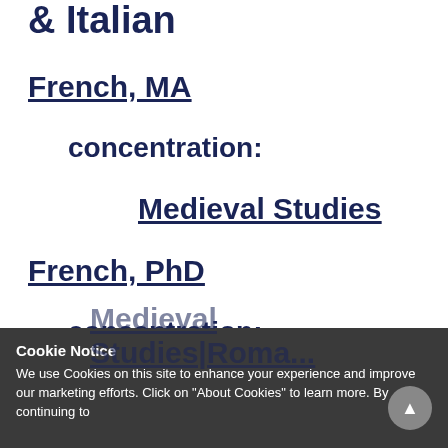& Italian
French, MA
concentration:
Medieval Studies
French, PhD
concentration:
Medieval Studies|Roma...
Cookie Notice
We use Cookies on this site to enhance your experience and improve our marketing efforts. Click on "About Cookies" to learn more. By continuing to